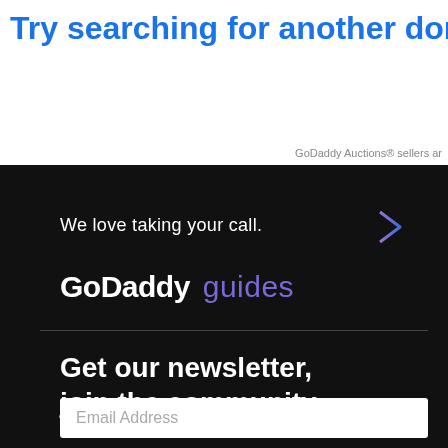Try searching for another domain na
GoDaddy Auctions® sellers ar
We love taking your call.
[Figure (illustration): Purple to blue gradient arrow pointing right]
GoDaddy guides
Get our newsletter, join the community:
Email Address